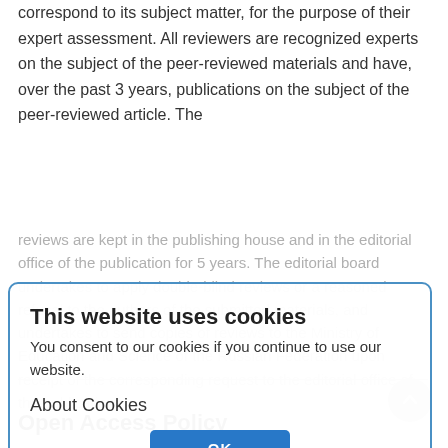correspond to its subject matter, for the purpose of their expert assessment. All reviewers are recognized experts on the subject of the peer-reviewed materials and have, over the past 3 years, publications on the subject of the peer-reviewed article. The reviews are kept in the publishing house and in the editorial office of the publication for 5 years. The editorial board undertakes to apply double-blind reviews or a reasoned refusal to the authors of the submitted materials, and undertakes to send copies of reviews to the Ministry of Education and Science of the Russian Federation upon receipt of the corresponding request to the editorial office of the publication.
[Figure (screenshot): Cookie consent dialog box with blue border. Title: 'This website uses cookies'. Body text: 'You consent to our cookies if you continue to use our website.' Section header: 'About Cookies'. Blue OK button centered.]
Open Access Policy